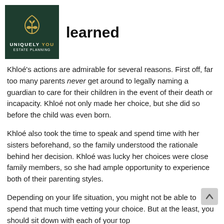[Figure (logo): Uniquely You Estate Planning logo — dark green square with gold leaf/sprout icon, white text UNIQUELY YOU, gold text YOU, white text ESTATE PLANNING]
learned
Khloé's actions are admirable for several reasons. First off, far too many parents never get around to legally naming a guardian to care for their children in the event of their death or incapacity. Khloé not only made her choice, but she did so before the child was even born.
Khloé also took the time to speak and spend time with her sisters beforehand, so the family understood the rationale behind her decision. Khloé was lucky her choices were close family members, so she had ample opportunity to experience both of their parenting styles.
Depending on your life situation, you might not be able to spend that much time vetting your choice. But at the least, you should sit down with each of your top